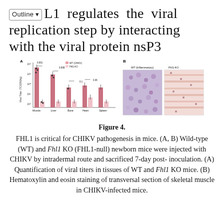L1 regulates the viral replication step by interacting with the viral protein nsP3
[Figure (other): Panel A: Bar chart showing viral titers (TCID50/g) in tissues of WT and Fhl1 KO mice including Muscle, Liver, Bone, Heart, Spleen. Panel B: Histology micrographs (H&E staining) of transversal sections of skeletal muscle from WT (inflammatory) and Fhl1-KO mice.]
Figure 4. FHL1 is critical for CHIKV pathogenesis in mice. (A, B) Wild-type (WT) and Fhl1 KO (FHL1-null) newborn mice were injected with CHIKV by intradermal route and sacrificed 7-day post-inoculation. (A) Quantification of viral titers in tissues of WT and Fhl1 KO mice. (B) Hematoxylin and eosin staining of transversal section of skeletal muscle in CHIKV-infected mice.